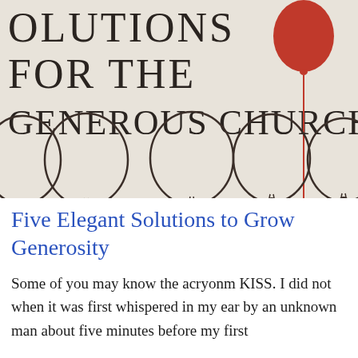[Figure (illustration): Book cover illustration showing large bold text 'OLUTIONS FOR THE GENEROUS CHURCH' on a beige/cream background with outlined balloons in dark brown/black and one red balloon floating up with a string on the right side.]
Five Elegant Solutions to Grow Generosity
Some of you may know the acryonm KISS. I did not when it was first whispered in my ear by an unknown man about five minutes before my first